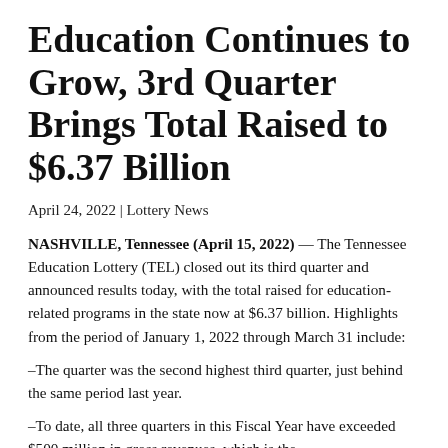Education Continues to Grow, 3rd Quarter Brings Total Raised to $6.37 Billion
April 24, 2022 | Lottery News
NASHVILLE, Tennessee (April 15, 2022) — The Tennessee Education Lottery (TEL) closed out its third quarter and announced results today, with the total raised for education-related programs in the state now at $6.37 billion. Highlights from the period of January 1, 2022 through March 31 include:
–The quarter was the second highest third quarter, just behind the same period last year.
–To date, all three quarters in this Fiscal Year have exceeded $500 million in gross revenues, which is the